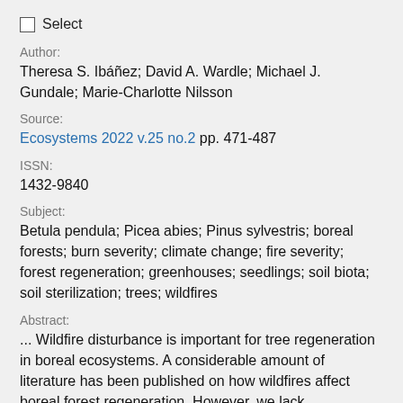☐ Select
Author:
Theresa S. Ibáñez; David A. Wardle; Michael J. Gundale; Marie-Charlotte Nilsson
Source:
Ecosystems 2022 v.25 no.2 pp. 471-487
ISSN:
1432-9840
Subject:
Betula pendula; Picea abies; Pinus sylvestris; boreal forests; burn severity; climate change; fire severity; forest regeneration; greenhouses; seedlings; soil biota; soil sterilization; trees; wildfires
Abstract:
... Wildfire disturbance is important for tree regeneration in boreal ecosystems. A considerable amount of literature has been published on how wildfires affect boreal forest regeneration. However, we lack understanding about how